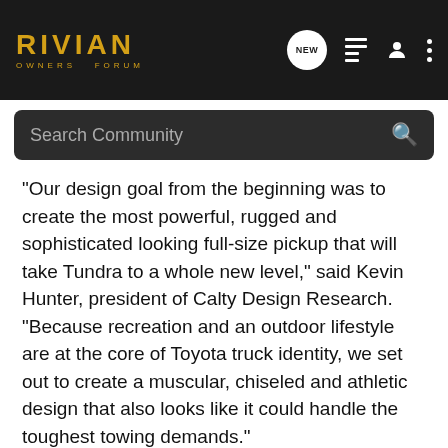RIVIAN OWNERS FORUM
"Our design goal from the beginning was to create the most powerful, rugged and sophisticated looking full-size pickup that will take Tundra to a whole new level," said Kevin Hunter, president of Calty Design Research. "Because recreation and an outdoor lifestyle are at the core of Toyota truck identity, we set out to create a muscular, chiseled and athletic design that also looks like it could handle the toughest towing demands."
The interior was meant to retain that “Technical Muscle” motif. Calty chose a horizontal layout theme as a departure from the vertical layout on most other trucks in the market. This complemented the design goal to integrate the instrument panel and center stack to flow